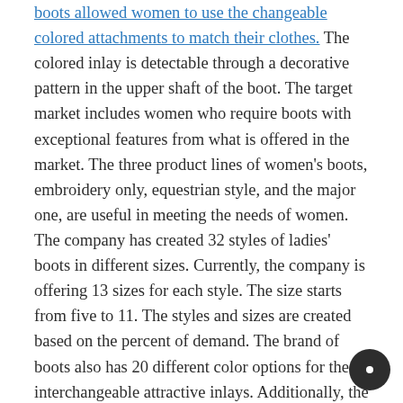boots allowed women to use the changeable colored attachments to match their clothes. The colored inlay is detectable through a decorative pattern in the upper shaft of the boot. The target market includes women who require boots with exceptional features from what is offered in the market. The three product lines of women's boots, embroidery only, equestrian style, and the major one, are useful in meeting the needs of women. The company has created 32 styles of ladies' boots in different sizes. Currently, the company is offering 13 sizes for each style. The size starts from five to 11. The styles and sizes are created based on the percent of demand. The brand of boots also has 20 different color options for the interchangeable attractive inlays. Additionally, the company created western-styled boots with five different shirts (Litton, 2016).